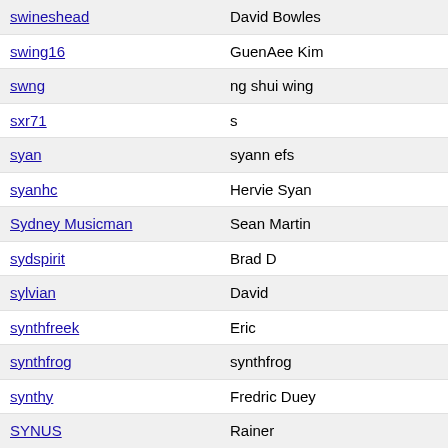| Username | Name |
| --- | --- |
| swineshead | David Bowles |
| swing16 | GuenAee Kim |
| swng | ng shui wing |
| sxr71 | s |
| syan | syann efs |
| syanhc | Hervie Syan |
| Sydney Musicman | Sean Martin |
| sydspirit | Brad D |
| sylvian | David |
| synthfreek | Eric |
| synthfrog | synthfrog |
| synthy | Fredric Duey |
| SYNUS | Rainer |
| syr-musica | samuel |
| syrena | Hiromichi Aikawa |
| syrienko | Syrienko |
| systemerror909 | Ryan |
| swoen | Sytzo van der Veen |